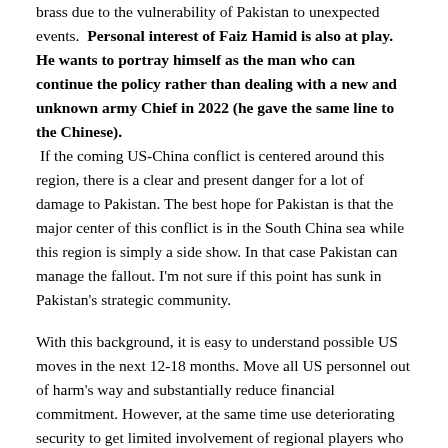brass due to the vulnerability of Pakistan to unexpected events. Personal interest of Faiz Hamid is also at play. He wants to portray himself as the man who can continue the policy rather than dealing with a new and unknown army Chief in 2022 (he gave the same line to the Chinese). If the coming US-China conflict is centered around this region, there is a clear and present danger for a lot of damage to Pakistan. The best hope for Pakistan is that the major center of this conflict is in the South China sea while this region is simply a side show. In that case Pakistan can manage the fallout. I'm not sure if this point has sunk in Pakistan's strategic community.
With this background, it is easy to understand possible US moves in the next 12-18 months. Move all US personnel out of harm's way and substantially reduce financial commitment. However, at the same time use deteriorating security to get limited involvement of regional players who have their own fears and interests. This also ties into other strategic objectives